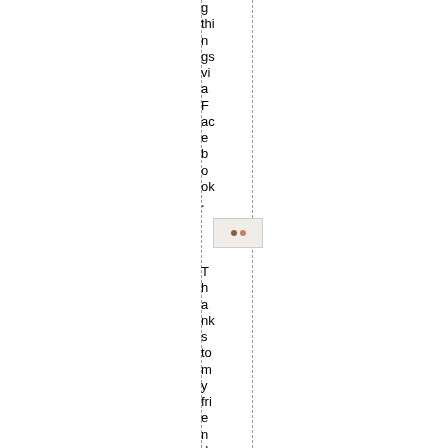g things via Facebook.
[Figure (photo): Small thumbnail image]
Thanks to my friend De